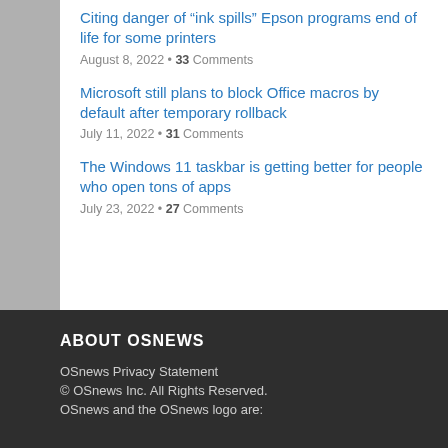Citing danger of “ink spills” Epson programs end of life for some printers
August 8, 2022 • 33 Comments
Microsoft still plans to block Office macros by default after temporary rollback
July 11, 2022 • 31 Comments
The Windows 11 taskbar is getting better for people who open tons of apps
July 23, 2022 • 27 Comments
ABOUT OSNEWS
OSnews Privacy Statement
© OSnews Inc. All Rights Reserved.
OSnews and the OSnews logo are: